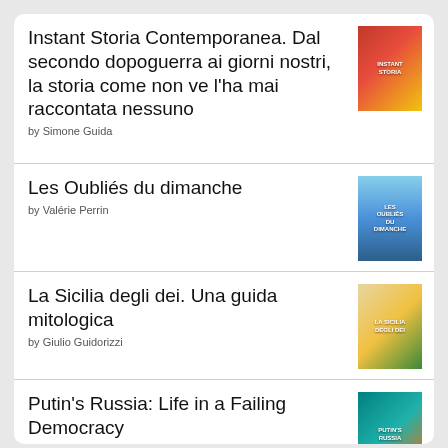Instant Storia Contemporanea. Dal secondo dopoguerra ai giorni nostri, la storia come non ve l'ha mai raccontata nessuno
by Simone Guida
Les Oubliés du dimanche
by Valérie Perrin
La Sicilia degli dei. Una guida mitologica
by Giulio Guidorizzi
Putin's Russia: Life in a Failing Democracy
by Anna Politkovskaya